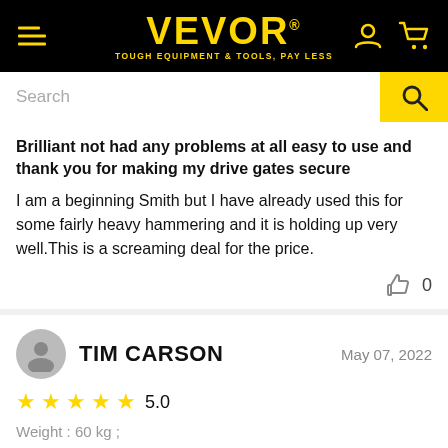[Figure (logo): VEVOR logo with hamburger menu, user icon, and cart icon on black header bar]
[Figure (screenshot): Search bar with magnifying glass button on yellow background]
Brilliant not had any problems at all easy to use and thank you for making my drive gates secure
I am a beginning Smith but I have already used this for some fairly heavy hammering and it is holding up very well.This is a screaming deal for the price.
0
TIM CARSON
May 07, 2022
5.0
Weight : 60 kg ;
I would recommend 100% this anvil is amazing at its price point and it is a solid cast deal anvil
I have been using this for about 5 months now and I 100%